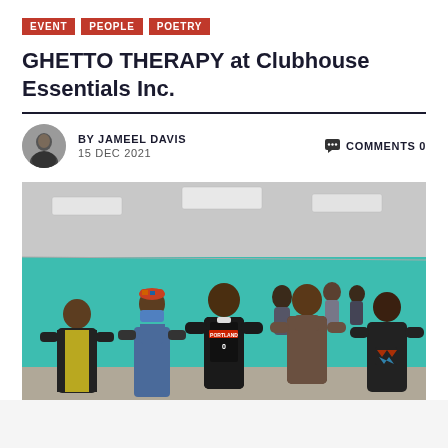EVENT  PEOPLE  POETRY
GHETTO THERAPY at Clubhouse Essentials Inc.
BY JAMEEL DAVIS  15 DEC 2021  COMMENTS 0
[Figure (photo): Group photo of five men standing together inside a large open room with teal/green walls and fluorescent ceiling lights. One man wears a Portland Trail Blazers jersey (#0), another wears a yellow safety vest, and another wears denim overalls with a face mask.]